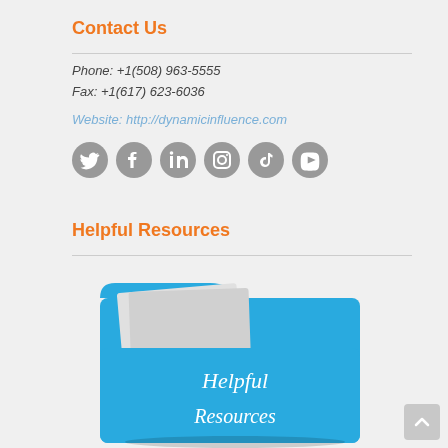Contact Us
Phone: +1(508) 963-5555
Fax: +1(617) 623-6036
Website: http://dynamicinfluence.com
[Figure (illustration): Six social media icon circles (Twitter, Facebook, LinkedIn, Instagram, TikTok, YouTube) in gray]
Helpful Resources
[Figure (illustration): A blue 3D folder illustration with white handwritten text 'Helpful Resources' on the front tab]